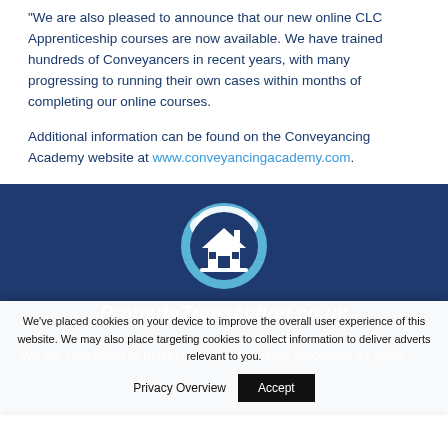“We are also pleased to announce that our new online CLC Apprenticeship courses are now available. We have trained hundreds of Conveyancers in recent years, with many progressing to running their own cases within months of completing our online courses.
Additional information can be found on the Conveyancing Academy website at www.conveyancingacademy.com.
[Figure (logo): PropertyTransaction.co.uk logo: circular emblem with dark blue house silhouette on light blue and white background, with brand name in bold italic white text and CONVEYANCING subtitle below]
We are committed to making complicated legal processes as quick,
We’ve placed cookies on your device to improve the overall user experience of this website. We may also place targeting cookies to collect information to deliver adverts relevant to you.